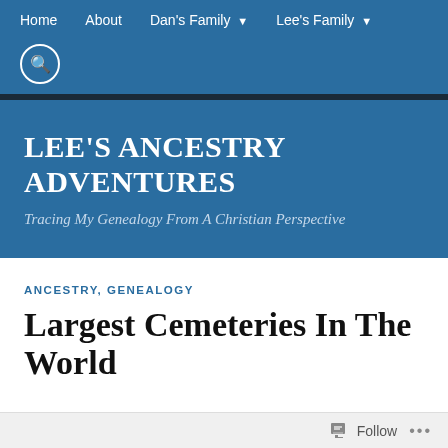Home   About   Dan's Family ▾   Lee's Family ▾
LEE'S ANCESTRY ADVENTURES
Tracing My Genealogy From A Christian Perspective
ANCESTRY, GENEALOGY
Largest Cemeteries In The World
Follow ...